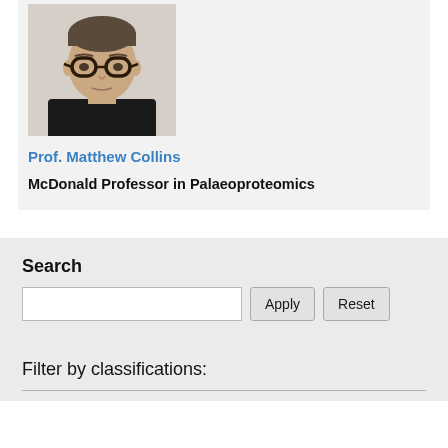[Figure (photo): Headshot photo of Prof. Matthew Collins, a middle-aged man wearing dark-rimmed glasses and a black top, set against a light background.]
Prof. Matthew Collins
McDonald Professor in Palaeoproteomics
Search
Apply
Reset
Filter by classifications: